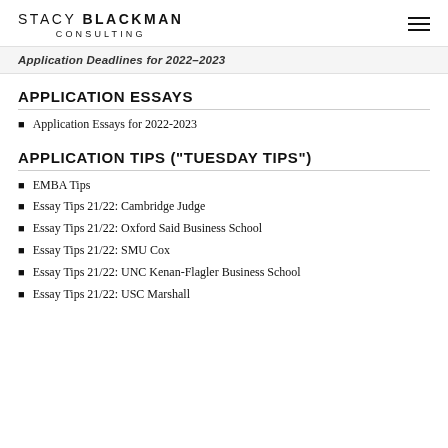STACY BLACKMAN CONSULTING
Application Deadlines for 2022-2023
APPLICATION ESSAYS
Application Essays for 2022-2023
APPLICATION TIPS ("TUESDAY TIPS")
EMBA Tips
Essay Tips 21/22: Cambridge Judge
Essay Tips 21/22: Oxford Said Business School
Essay Tips 21/22: SMU Cox
Essay Tips 21/22: UNC Kenan-Flagler Business School
Essay Tips 21/22: USC Marshall